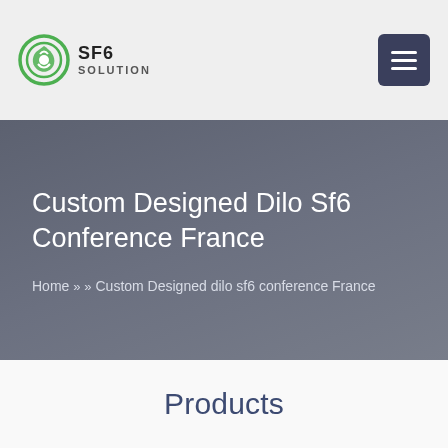SF6 SOLUTION
Custom Designed Dilo Sf6 Conference France
Home » » Custom Designed dilo sf6 conference France
Products